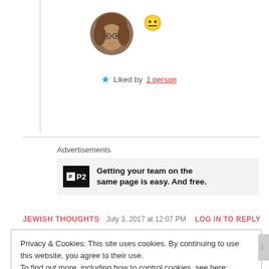[Figure (photo): Circular avatar photo of a woman with glasses and brown hair]
[Figure (illustration): Yellow neutral/slight smile emoji face]
★ Liked by 1 person
Advertisements
[Figure (screenshot): P2 advertisement banner: Getting your team on the same page is easy. And free.]
JEWISH THOUGHTS   July 3, 2017 at 12:07 PM   LOG IN TO REPLY
Privacy & Cookies: This site uses cookies. By continuing to use this website, you agree to their use. To find out more, including how to control cookies, see here: Cookie Policy
Close and accept